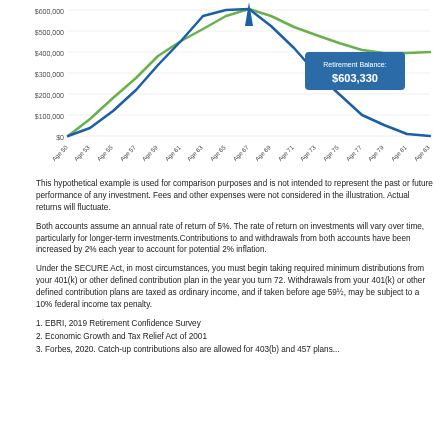[Figure (line-chart): Retirement Balance Chart]
This hypothetical example is used for comparison purposes and is not intended to represent the past or future performance of any investment. Fees and other expenses were not considered in the illustration. Actual returns will fluctuate.
Both accounts assume an annual rate of return of 5%. The rate of return on investments will vary over time, particularly for longer-term investments.Contributions to and withdrawals from both accounts have been increased by 2% each year to account for potential 2% inflation.
Under the SECURE Act, in most circumstances, you must begin taking required minimum distributions from your 401(k) or other defined contribution plan in the year you turn 72. Withdrawals from your 401(k) or other defined contribution plans are taxed as ordinary income, and if taken before age 59½, may be subject to a 10% federal income tax penalty.
1. EBRI, 2019 Retirement Confidence Survey
2. Economic Growth and Tax Relief Act of 2001
3. Forbes, 2020. Catch-up contributions also are allowed for 403(b) and 457 plans...